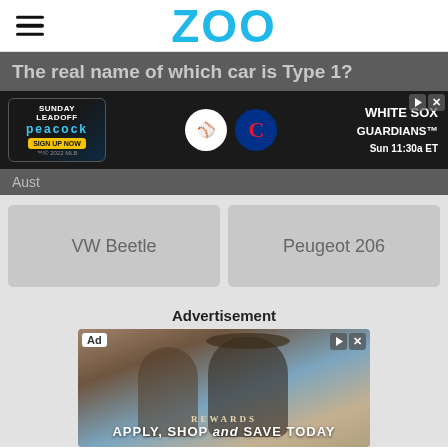ZOO
The real name of which car is Type 1?
[Figure (screenshot): Peacock / Sunday Leadoff advertisement banner for MLB: White Sox vs Guardians, Sun 11:30a ET]
Aust
VW Beetle
Peugeot 206
Advertisement
[Figure (photo): Advertisement photo showing two people on a sailing ship with text: REWARDS - APPLY, SHOP and SAVE TODAY]